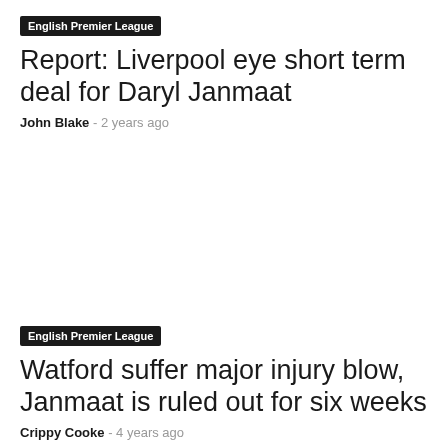English Premier League
Report: Liverpool eye short term deal for Daryl Janmaat
John Blake  -  2 years ago
English Premier League
Watford suffer major injury blow, Janmaat is ruled out for six weeks
Crippy Cooke  -  4 years ago